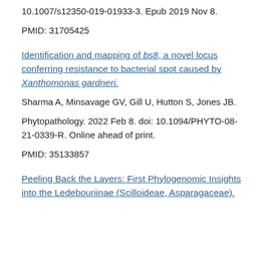10.1007/s12350-019-01933-3. Epub 2019 Nov 8.
PMID: 31705425
Identification and mapping of bs8, a novel locus conferring resistance to bacterial spot caused by Xanthomonas gardneri.
Sharma A, Minsavage GV, Gill U, Hutton S, Jones JB.
Phytopathology. 2022 Feb 8. doi: 10.1094/PHYTO-08-21-0339-R. Online ahead of print.
PMID: 35133857
Peeling Back the Layers: First Phylogenomic Insights into the Ledebouriinae (Scilloideae, Asparagaceae).